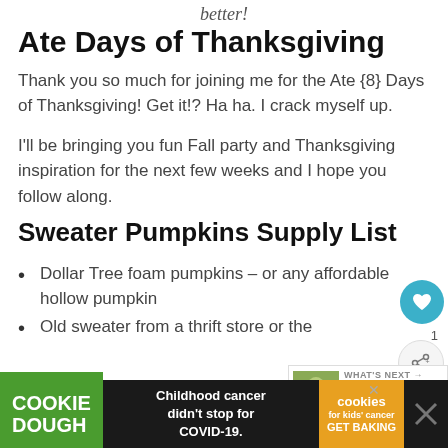better!
Ate Days of Thanksgiving
Thank you so much for joining me for the Ate {8} Days of Thanksgiving! Get it!? Ha ha. I crack myself up.
I'll be bringing you fun Fall party and Thanksgiving inspiration for the next few weeks and I hope you follow along.
Sweater Pumpkins Supply List
Dollar Tree foam pumpkins – or any affordable hollow pumpkin
Old sweater from a thrift store or the
[Figure (other): What's Next widget showing Healthy Fruit Christmas... article]
[Figure (other): Cookie Dough ad banner: Childhood cancer didn't stop for COVID-19. GET BAKING.]